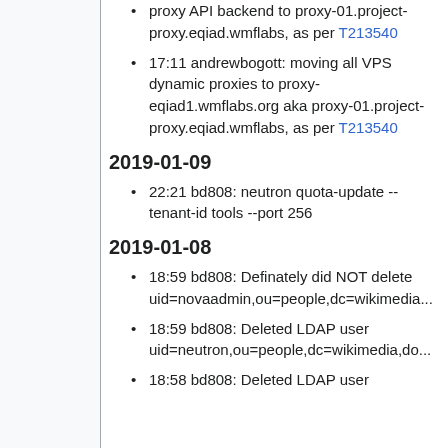proxy API backend to proxy-01.project-proxy.eqiad.wmflabs, as per T213540
17:11 andrewbogott: moving all VPS dynamic proxies to proxy-eqiad1.wmflabs.org aka proxy-01.project-proxy.eqiad.wmflabs, as per T213540
2019-01-09
22:21 bd808: neutron quota-update --tenant-id tools --port 256
2019-01-08
18:59 bd808: Definately did NOT delete uid=novaadmin,ou=people,dc=wikimedia...
18:59 bd808: Deleted LDAP user uid=neutron,ou=people,dc=wikimedia,d...
18:58 bd808: Deleted LDAP user